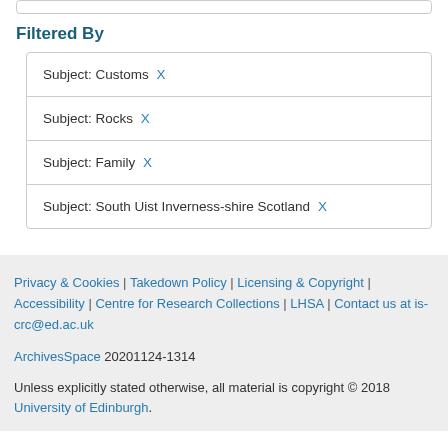Filtered By
Subject: Customs X
Subject: Rocks X
Subject: Family X
Subject: South Uist Inverness-shire Scotland X
Privacy & Cookies | Takedown Policy | Licensing & Copyright | Accessibility | Centre for Research Collections | LHSA | Contact us at is-crc@ed.ac.uk

ArchivesSpace 20201124-1314

Unless explicitly stated otherwise, all material is copyright © 2018 University of Edinburgh.